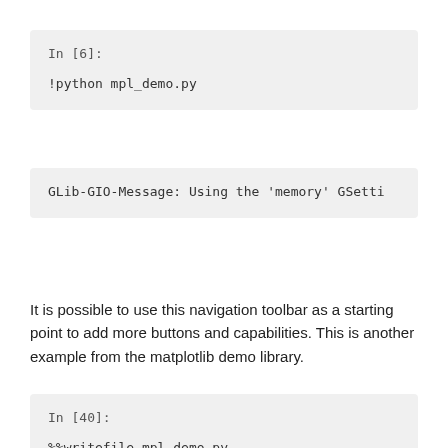In [6]:
!python mpl_demo.py
GLib-GIO-Message: Using the 'memory' GSetti
It is possible to use this navigation toolbar as a starting point to add more buttons and capabilities. This is another example from the matplotlib demo library.
In [40]:
%%writefile mpl_demo.py